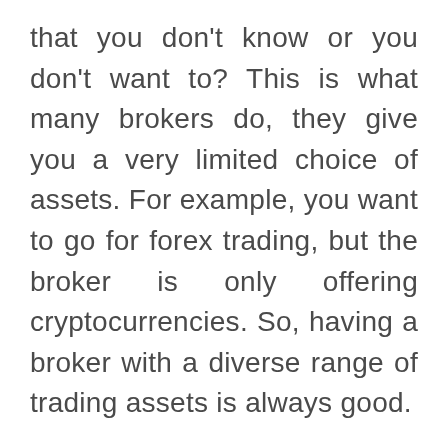that you don't know or you don't want to? This is what many brokers do, they give you a very limited choice of assets. For example, you want to go for forex trading, but the broker is only offering cryptocurrencies. So, having a broker with a diverse range of trading assets is always good.
The best feature about this brokerage is the variety of trading assets. The trading sector has many assets, but